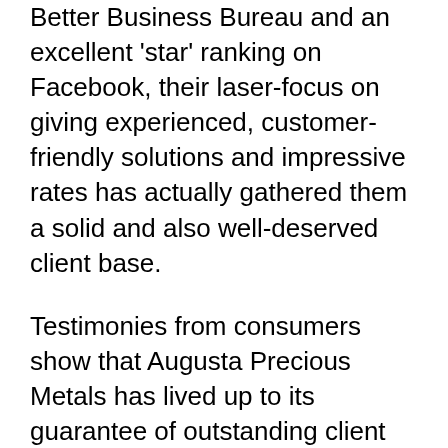Better Business Bureau and an excellent 'star' ranking on Facebook, their laser-focus on giving experienced, customer-friendly solutions and impressive rates has actually gathered them a solid and also well-deserved client base.
Testimonies from consumers show that Augusta Precious Metals has lived up to its guarantee of outstanding client service. They are known for high consumer commitment as well as repeat company, as they serve clients with transparency as well as integrity. As constantly, we suggest an individual telephone call to the firm to assess matters of price and efficiency, as well as match the provided solutions to your particular savings requires.